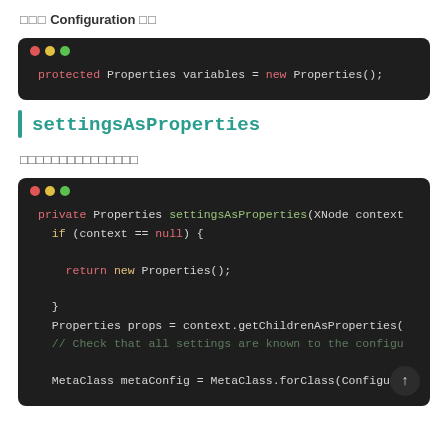□□□ Configuration □□
[Figure (screenshot): Dark code editor block showing: protected Properties variables = new Properties();]
settingsAsProperties
□□□□□□□□□□□□□□□
[Figure (screenshot): Dark code editor block showing: private Properties settingsAsProperties(XNode context  if (context == null) {    return new Properties();  }  Properties props = context.getChildrenAsProperties(  // Check that all settings are known to the configu  MetaClass metaConfig = MetaClass.forClass(Configura]